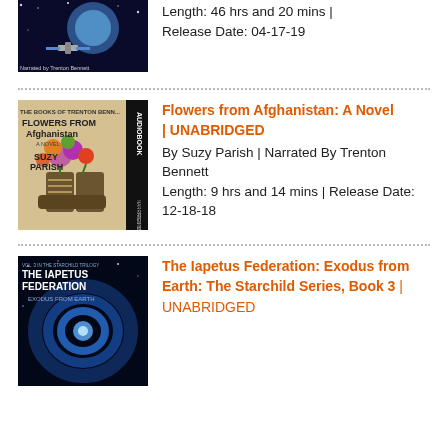[Figure (illustration): Partial audiobook cover showing a space scene with a satellite, planets, and stars. Text at bottom reads 'Narrated by Trenton Bennett'.]
Length: 46 hrs and 20 mins | Release Date: 04-17-19
[Figure (illustration): Audiobook cover for 'Flowers from Afghanistan: A Novel' by Suzy Parish. Shows flowers in military boots with a vertical 'AUDIOBOOK' spine on the right side.]
Flowers from Afghanistan: A Novel | UNABRIDGED
By Suzy Parish | Narrated By Trenton Bennett
Length: 9 hrs and 14 mins | Release Date: 12-18-18
[Figure (illustration): Audiobook cover for 'The Iapetus Federation: Exodus from Earth: The Starchild Series, Book 3'. Shows a blue swirling vortex with the title text.]
The Iapetus Federation: Exodus from Earth: The Starchild Series, Book 3 | UNABRIDGED